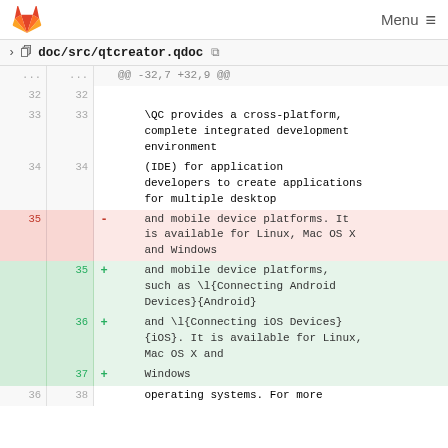GitLab — Menu
doc/src/qtcreator.qdoc
| old | new | op | code |
| --- | --- | --- | --- |
| ... | ... |  | @@ -32,7 +32,9 @@ |
| 32 | 32 |  |  |
| 33 | 33 |  |     \QC provides a cross-platform, complete integrated development environment |
| 34 | 34 |  |     (IDE) for application developers to create applications for multiple desktop |
| 35 |  | - |     and mobile device platforms. It is available for Linux, Mac OS X and Windows |
|  | 35 | + |     and mobile device platforms, such as \l{Connecting Android Devices}{Android} |
|  | 36 | + |     and \l{Connecting iOS Devices}{iOS}. It is available for Linux, Mac OS X and |
|  | 37 | + |     Windows |
| 36 | 38 |  |     operating systems. For more |